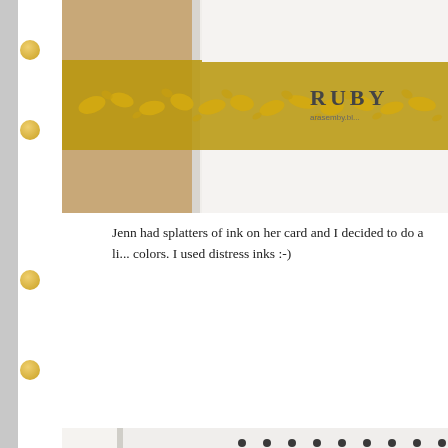[Figure (photo): Close-up of a handmade card with gold filigree/lace embellishment and a 'RUBY' watermark in the upper right corner, showing partial text 'arasemby.b...']
Jenn had splatters of ink on her card and I decided to do a li... colors. I used distress inks :-)
[Figure (photo): Handmade card with colorful ink splatters and watercolor splashes in yellow, pink, and green on a white background with black halftone dot pattern, gold filigree corner embellishment, and large black 'hello' text stamp at the bottom.]